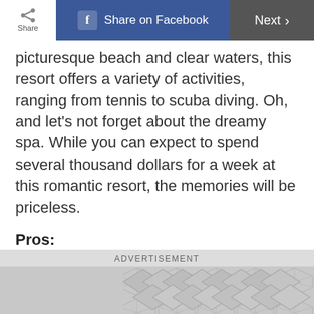Share | Share on Facebook | Next
picturesque beach and clear waters, this resort offers a variety of activities, ranging from tennis to scuba diving. Oh, and let’s not forget about the dreamy spa. While you can expect to spend several thousand dollars for a week at this romantic resort, the memories will be priceless.
Pros:
Unique, once-in-a-lifetime experience
Stunning property
Lots of activities
Cons:
ADVERTISEMENT